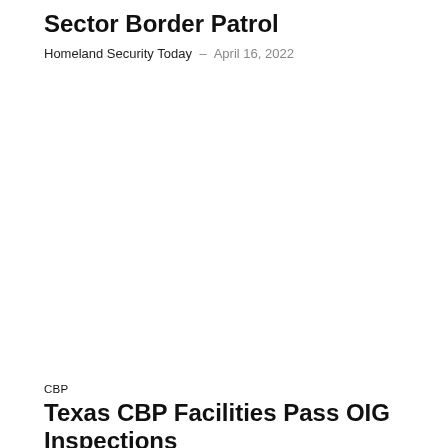Sector Border Patrol
Homeland Security Today – April 16, 2022
CBP
Texas CBP Facilities Pass OIG Inspections
Kylie Bielby – September 7, 2020